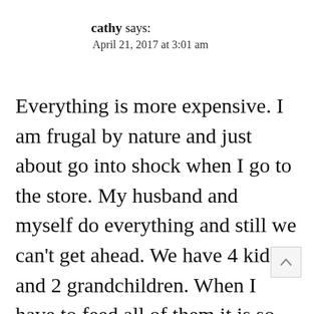cathy says:
April 21, 2017 at 3:01 am
Everything is more expensive. I am frugal by nature and just about go into shock when I go to the store. My husband and myself do everything and still we can't get ahead. We have 4 kids and 2 grandchildren. When I have to feed all of them it is so expensive. I haven't been finding good sales. Ugh. I will try to